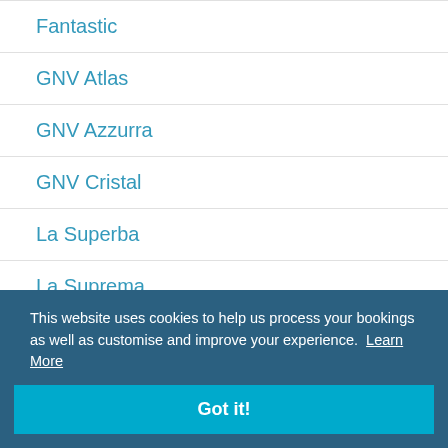Fantastic
GNV Atlas
GNV Azzurra
GNV Cristal
La Superba
La Suprema
Rhapsody
Splendid
Majestic Reviews
This website uses cookies to help us process your bookings as well as customise and improve your experience. Learn More
Got it!